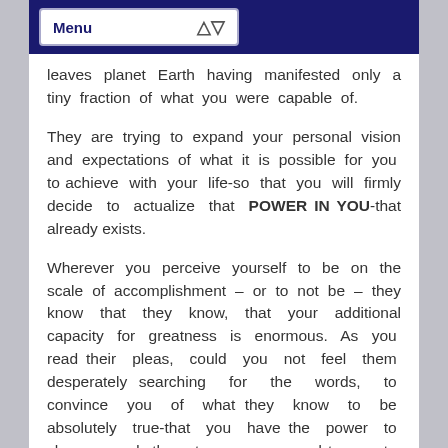Menu
leaves planet Earth having manifested only a tiny fraction of what you were capable of.
They are trying to expand your personal vision and expectations of what it is possible for you to achieve with your life-so that you will firmly decide to actualize that POWER IN YOU-that already exists.
Wherever you perceive yourself to be on the scale of accomplishment – or to not be – they know that they know, that your additional capacity for greatness is enormous. As you read their pleas, could you not feel them desperately searching for the words, to convince you of what they know to be absolutely true-that you have the power to choose, and then to compose and to create (or recreate) your life with dignity-if you would simply act to do so. So, I trust that you